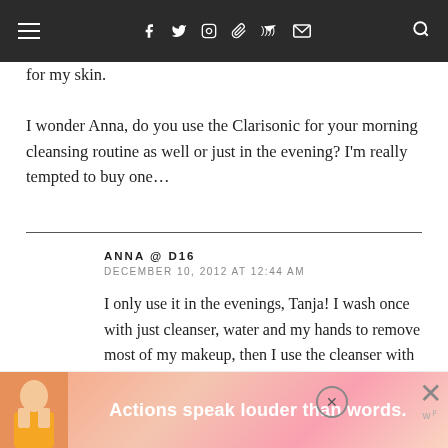≡   f  ⓣ  ◎  ⓟ  )))  ✉   🔍
for my skin.
I wonder Anna, do you use the Clarisonic for your morning cleansing routine as well or just in the evening? I'm really tempted to buy one…
ANNA @ D16
DECEMBER 10, 2012 AT 12:44 AM
I only use it in the evenings, Tanja! I wash once with just cleanser, water and my hands to remove most of my makeup, then I use the cleanser with my Clarisonic to deep-clean. I know that might sound like overkill, but it's the routine my
[Figure (infographic): Advertisement banner at bottom: pink gradient background with illustrated figure on left, bold white text 'Actions speak louder than words.' in center, close button and wordmark on right.]